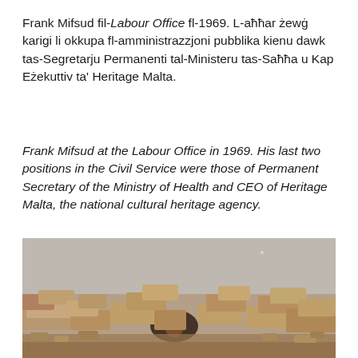Frank Mifsud fil-Labour Office fl-1969. L-aħħar żewġ karigi li okkupa fl-amministrazzjoni pubblika kienu dawk tas-Segretarju Permanenti tal-Ministeru tas-Saħħa u Kap Eżekuttiv ta' Heritage Malta.
Frank Mifsud at the Labour Office in 1969. His last two positions in the Civil Service were those of Permanent Secretary of the Ministry of Health and CEO of Heritage Malta, the national cultural heritage agency.
[Figure (photo): Old photograph showing a person peering through a gap in ancient stone ruins, likely a Maltese archaeological site. The image has a warm, faded vintage tone.]